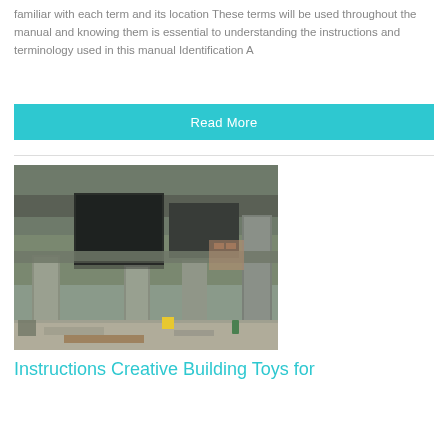familiar with each term and its location These terms will be used throughout the manual and knowing them is essential to understanding the instructions and terminology used in this manual Identification A
Read More
[Figure (photo): Construction photograph showing a concrete structure with vertical columns and large box-shaped elements elevated on pillars, viewed from ground level at a construction site with dirt ground and building materials scattered around.]
Instructions Creative Building Toys for